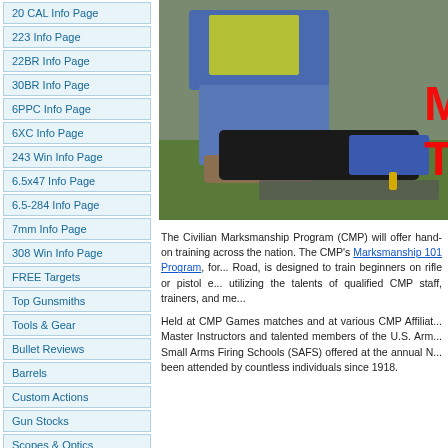20 CAL Info Page
223 Info Page
22BR Info Page
30BR Info Page
6PPC Info Page
6XC Info Page
243 Win Info Page
6.5x47 Info Page
6.5-284 Info Page
7mm Info Page
308 Win Info Page
FREE Targets
Top Gunsmiths
Tools & Gear
Bullet Reviews
Barrels
Custom Actions
Gun Stocks
Scopes & Optics
Vendor List
Reader POLLS
Event Calendar
[Figure (photo): Two people on grass, one in blue jacket and yellow safety vest kneeling over another person, shooting gear visible on a mat. Red letters M and T visible on right edge.]
The Civilian Marksmanship Program (CMP) will offer hand-on training across the nation. The CMP's Marksmanship 101 Program, for... Road, is designed to train beginners on rifle or pistol e... utilizing the talents of qualified CMP staff, trainers, and me...
Held at CMP Games matches and at various CMP Affiliat... Master Instructors and talented members of the U.S. Arm... Small Arms Firing Schools (SAFS) offered at the annual N... been attended by countless individuals since 1918.